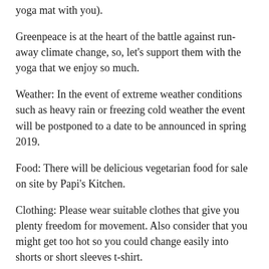yoga mat with you).
Greenpeace is at the heart of the battle against run-away climate change, so, let's support them with the yoga that we enjoy so much.
Weather: In the event of extreme weather conditions such as heavy rain or freezing cold weather the event will be postponed to a date to be announced in spring 2019.
Food: There will be delicious vegetarian food for sale on site by Papi's Kitchen.
Clothing: Please wear suitable clothes that give you plenty freedom for movement. Also consider that you might get too hot so you could change easily into shorts or short sleeves t-shirt.
Suitability: All are welcome. We are aiming to complete the